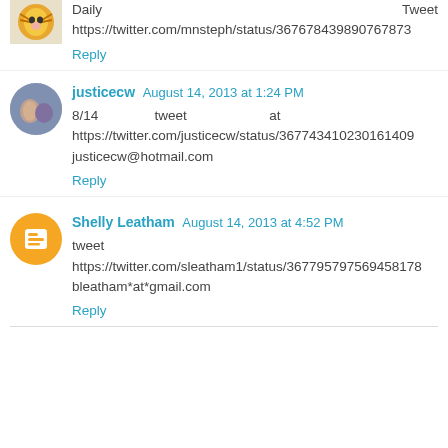Daily Tweet https://twitter.com/mnsteph/status/367678439890767873
Reply
justicecw August 14, 2013 at 1:24 PM
8/14 tweet at https://twitter.com/justicecw/status/367743410230161409 justicecw@hotmail.com
Reply
Shelly Leatham August 14, 2013 at 4:52 PM
tweet https://twitter.com/sleatham1/status/367795797569458178 bleatham*at*gmail.com
Reply